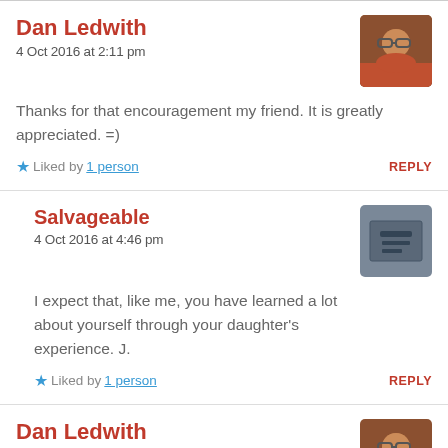Dan Ledwith
4 Oct 2016 at 2:11 pm
Thanks for that encouragement my friend. It is greatly appreciated. =)
★ Liked by 1 person   REPLY
Salvageable
4 Oct 2016 at 4:46 pm
I expect that, like me, you have learned a lot about yourself through your daughter's experience. J.
★ Liked by 1 person   REPLY
Dan Ledwith
4 Oct 2016 at 4:50 pm